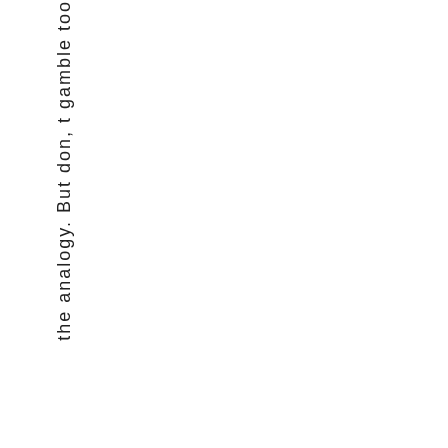the analogy. But don, t gamble too